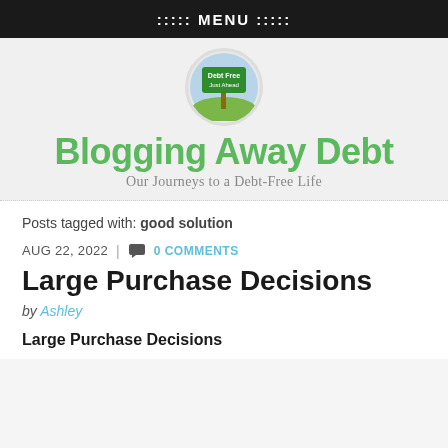::::: MENU :::::
[Figure (logo): Circular logo with green road sign reading 'Debt Free Just Ahead']
Blogging Away Debt
Our Journeys to a Debt-Free Life
Posts tagged with: good solution
AUG 22, 2022  |  0 COMMENTS
Large Purchase Decisions
by Ashley
Large Purchase Decisions